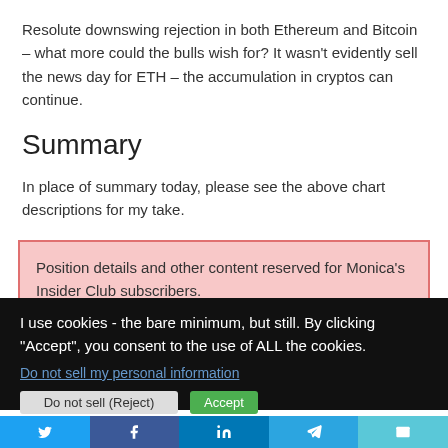Resolute downswing rejection in both Ethereum and Bitcoin – what more could the bulls wish for? It wasn't evidently sell the news day for ETH – the accumulation in cryptos can continue.
Summary
In place of summary today, please see the above chart descriptions for my take.
Position details and other content reserved for Monica's Insider Club subscribers.
I use cookies - the bare minimum, but still. By clicking "Accept", you consent to the use of ALL the cookies.
Do not sell my personal information